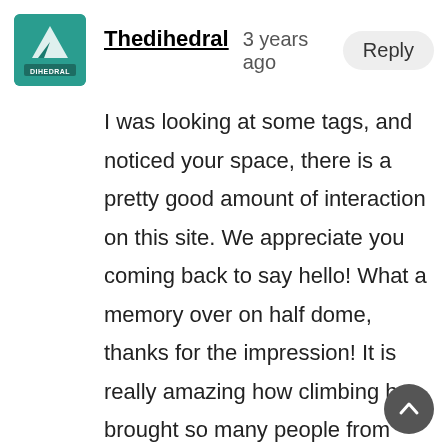[Figure (logo): Thedihedral avatar logo showing mountain/dihedral design with teal/green background and text DIHEDRAL]
Thedihedral   3 years ago   Reply
I was looking at some tags, and noticed your space, there is a pretty good amount of interaction on this site. We appreciate you coming back to say hello! What a memory over on half dome, thanks for the impression! It is really amazing how climbing has brought so many people from around the globe together. Happy and Safe sounds like a great plan! Thanks again!